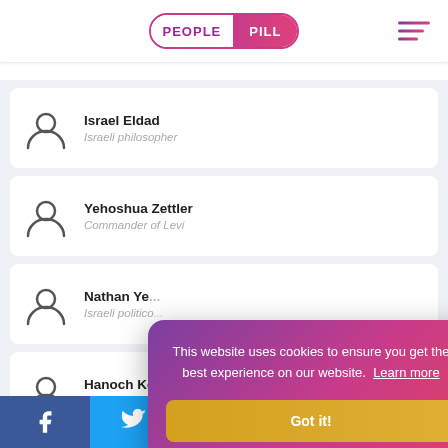PEOPLE PILL
Israel Eldad
Israeli philosopher
Yehoshua Zettler
Commander of Levi
Nathan Ye...
Israeli politico...
Hanoch Ko...
Israeli freedo...
Geoffrey J...
Palestinxan po...
This website uses cookies to ensure you get the best experience on our website. Learn more
Got it!
Facebook Twitter Reddit LinkedIn WhatsApp